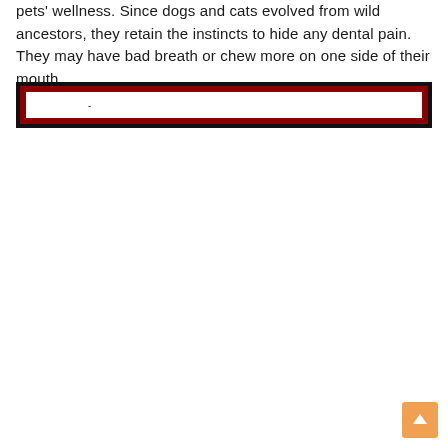pets' wellness. Since dogs and cats evolved from wild ancestors, they retain the instincts to hide any dental pain. They may have bad breath or chew more on one side of their mouth.
[Figure (other): A decorative banner/box element with a black outer border and a dark red/crimson inner border, forming a rectangular frame with a white interior. There is a small dash or hyphen mark near the top-left interior area.]